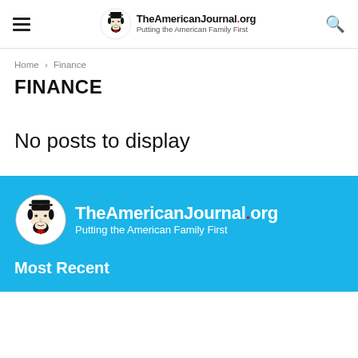TheAmericanJournal.org — Putting the American Family First
Home › Finance
FINANCE
No posts to display
[Figure (logo): TheAmericanJournal.org logo with Abraham Lincoln illustration — Putting the American Family First]
Most Recent